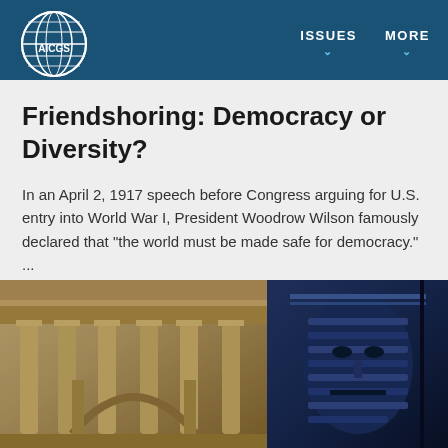AICGS | ISSUES | MORE
Friendshoring: Democracy or Diversity?
In an April 2, 1917 speech before Congress arguing for U.S. entry into World War I, President Woodrow Wilson famously declared that "the world must be made safe for democracy." ...
Peter S. Rashish
[Figure (photo): Two-panel image: left panel shows ornate classical building architecture with columns and arches in warm golden tones; right panel shows a blue-toned sculptural mask or face with geometric patterns.]